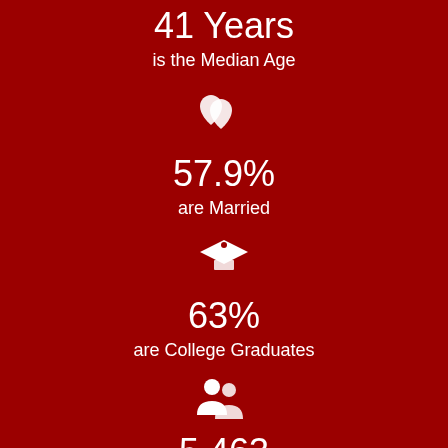41 Years
is the Median Age
[Figure (illustration): Two interlocked hearts icon (white) representing marriage]
57.9%
are Married
[Figure (illustration): Graduation cap icon (white) representing college graduates]
63%
are College Graduates
[Figure (illustration): Two people/group icon (white) representing population]
5,463
People live